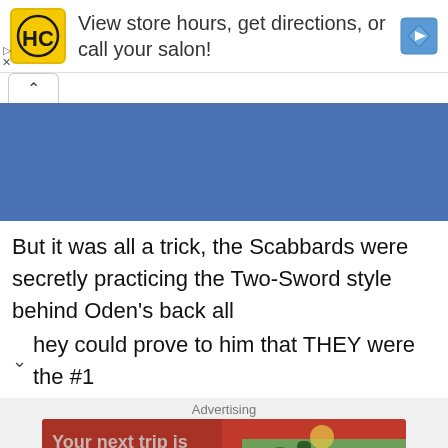[Figure (screenshot): Advertisement banner: HC (Hair Club) logo on yellow background, text 'View store hours, get directions, or call your salon!', blue navigation diamond icon. Small play and X controls at bottom-left.]
[Figure (screenshot): Collapsed UI panel with caret/up-arrow tab, followed by a solid blue rectangle (content panel).]
But it was all a trick, the Scabbards were secretly practicing the Two-Sword style behind Oden's back all
hey could prove to him that THEY were the #1
Advertising
[Figure (screenshot): Hotels.com advertisement: red background with travel/beach image showing people, overlay text 'Your next trip is waiting for you', Hotels.com logo at bottom left, BOOK NOW button at bottom right.]